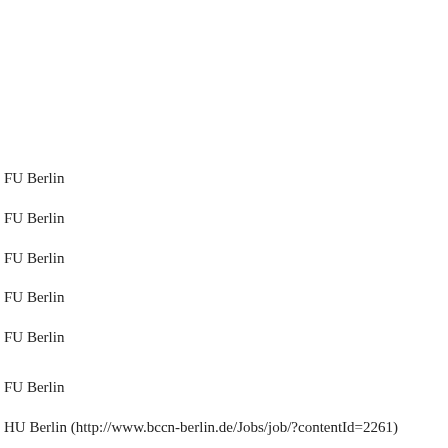FU Berlin
FU Berlin
FU Berlin
FU Berlin
FU Berlin
FU Berlin
HU Berlin (http://www.bccn-berlin.de/Jobs/job/?contentId=2261)